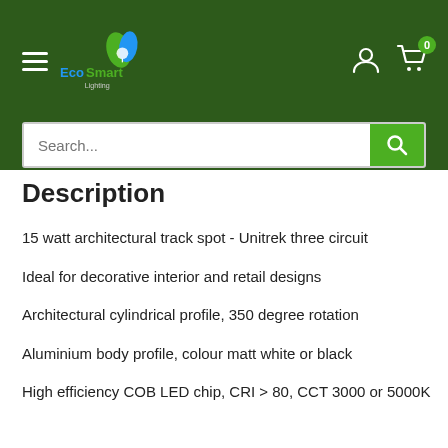EcoSmart Lighting
Description
15 watt architectural track spot - Unitrek three circuit
Ideal for decorative interior and retail designs
Architectural cylindrical profile, 350 degree rotation
Aluminium body profile, colour matt white or black
High efficiency COB LED chip, CRI > 80, CCT 3000 or 5000K